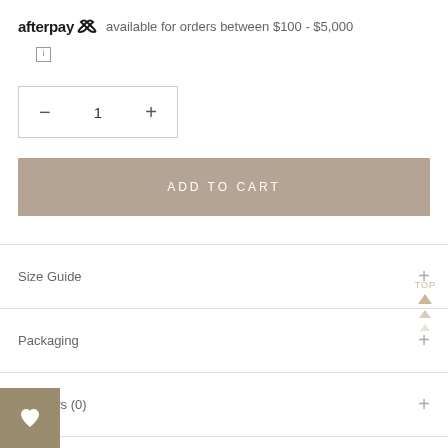afterpay available for orders between $100 - $5,000
i
1 (quantity selector)
ADD TO CART
Size Guide
Packaging
Reviews (0)